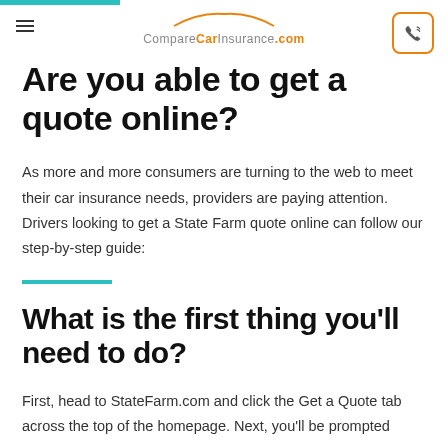CompareCarInsurance.com
Are you able to get a quote online?
As more and more consumers are turning to the web to meet their car insurance needs, providers are paying attention. Drivers looking to get a State Farm quote online can follow our step-by-step guide:
What is the first thing you'll need to do?
First, head to StateFarm.com and click the Get a Quote tab across the top of the homepage. Next, you'll be prompted